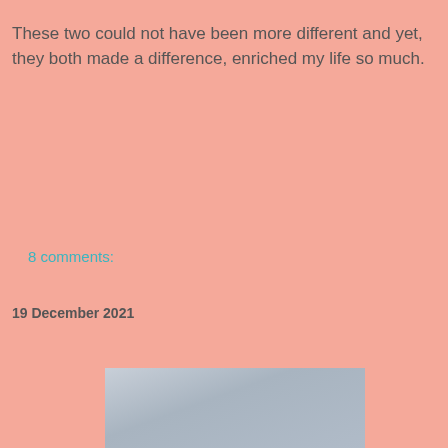These two could not have been more different and yet, they both made a difference, enriched my life so much.
8 comments:
19 December 2021
[Figure (photo): Partial view of a photo with a blue-grey gradient background, cropped at the bottom of the page]